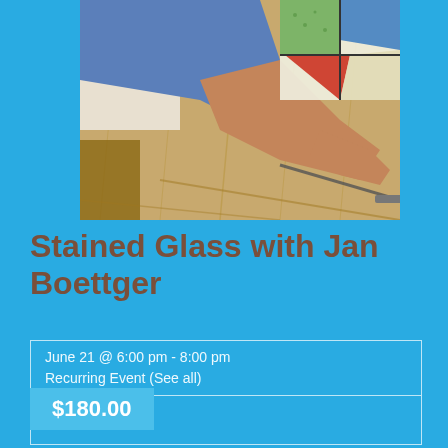[Figure (photo): A person's hands working on stained glass pieces on a wooden board. Colorful glass pieces including red triangle, green, blue, and other colored pieces visible in upper right. Person wearing blue long-sleeve shirt.]
Stained Glass with Jan Boettger
June 21 @ 6:00 pm - 8:00 pm
Recurring Event (See all)
$180.00